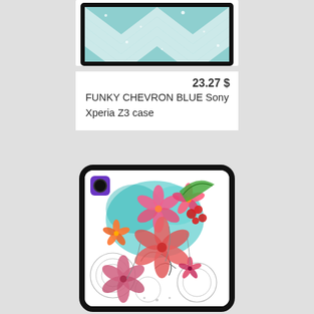[Figure (photo): Phone case with blue and white chevron/zigzag glitter pattern, shown in black case frame, partially cropped at top]
23.27 $
FUNKY CHEVRON BLUE Sony Xperia Z3 case
[Figure (photo): Sony Xperia smartphone with colorful tropical floral phone case featuring pink, red and coral flowers and teal watercolor elements on white background with mandala designs]